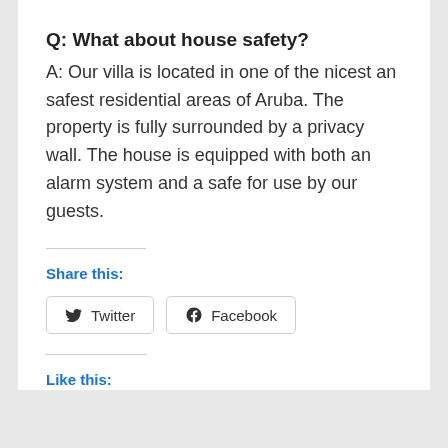Q: What about house safety?
A: Our villa is located in one of the nicest an safest residential areas of Aruba. The property is fully surrounded by a privacy wall. The house is equipped with both an alarm system and a safe for use by our guests.
Share this:
Twitter
Facebook
Like this:
Loading...